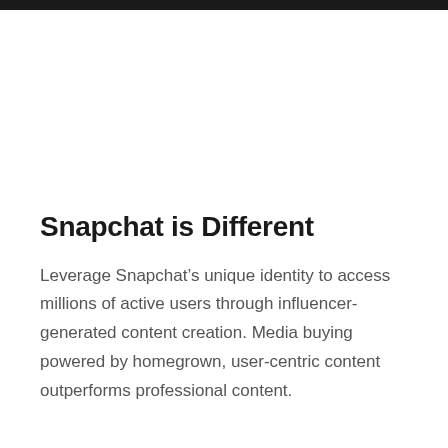Snapchat is Different
Leverage Snapchat’s unique identity to access millions of active users through influencer-generated content creation. Media buying powered by homegrown, user-centric content outperforms professional content.